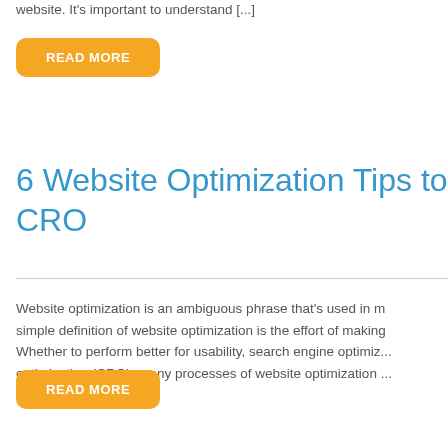website. It's important to understand [...]
READ MORE
6 Website Optimization Tips to Improve CRO
Website optimization is an ambiguous phrase that's used in many ways. A simple definition of website optimization is the effort of making a website... Whether to perform better for usability, search engine optimization, or conversion rate optimization (CRO), many processes of website optimization overlap. That is, [...]
READ MORE